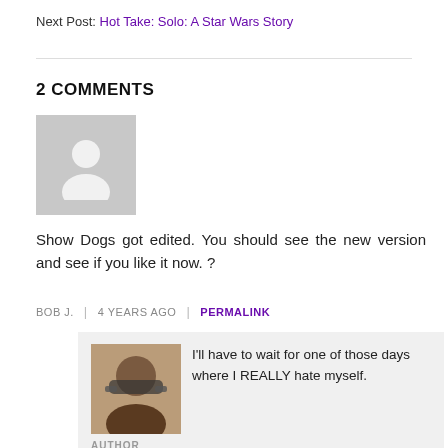Next Post: Hot Take: Solo: A Star Wars Story
2 COMMENTS
[Figure (illustration): Generic grey user avatar placeholder silhouette]
Show Dogs got edited. You should see the new version and see if you like it now. ?
BOB J.  |  4 YEARS AGO  |  PERMALINK
[Figure (photo): Small profile photo of a man with glasses]
AUTHOR
I'll have to wait for one of those days where I REALLY hate myself.